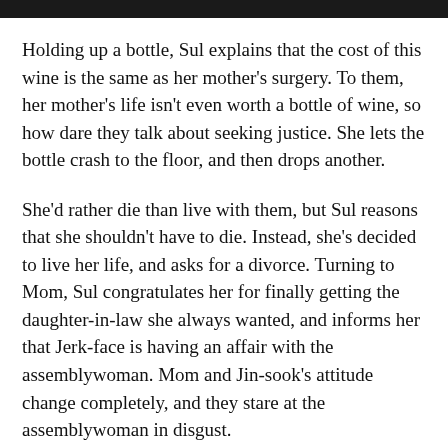[Figure (photo): Dark image strip at the top of the page, appears to be a cropped photograph.]
Holding up a bottle, Sul explains that the cost of this wine is the same as her mother's surgery. To them, her mother's life isn't even worth a bottle of wine, so how dare they talk about seeking justice. She lets the bottle crash to the floor, and then drops another.
She'd rather die than live with them, but Sul reasons that she shouldn't have to die. Instead, she's decided to live her life, and asks for a divorce. Turning to Mom, Sul congratulates her for finally getting the daughter-in-law she always wanted, and informs her that Jerk-face is having an affair with the assemblywoman. Mom and Jin-sook's attitude change completely, and they stare at the assemblywoman in disgust.
As Sul leaves, she chucks a few more bottles of wine, and smiles triumphantly. Once outside, she sheds off her hanbok, and walks out of that prison, a free